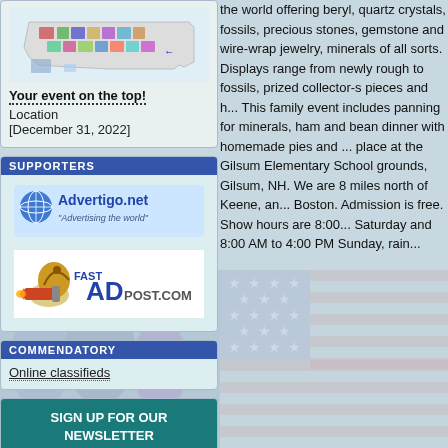[Figure (map): US map with colored states, top of left column]
Your event on the top!
Location
[December 31, 2022]
SUPPORTERS
[Figure (logo): Advertigo.net logo - globe icon with text 'Advertigo.net' and tagline 'Advertising the world']
[Figure (logo): FastAdPost.com logo - rocket submarine mascot with bold text]
COMMENDATORY
Online classifieds
SIGN UP FOR OUR NEWSLETTER
E-MAIL
sign up   sign out
the world offering beryl, quartz crystals, fossils, precious stones, gemstone and wire-wrap jewelry, minerals of all sorts. Displays range from newly rough to fossils, prized collector-s pieces and h... This family event includes panning for minerals, ham and bean dinner with homemade pies and ... place at the Gilsum Elementary School grounds, Gilsum, NH. We are 8 miles north of Keene, an... Boston. Admission is free. Show hours are 8:00... Saturday and 8:00 AM to 4:00 PM Sunday, rain...